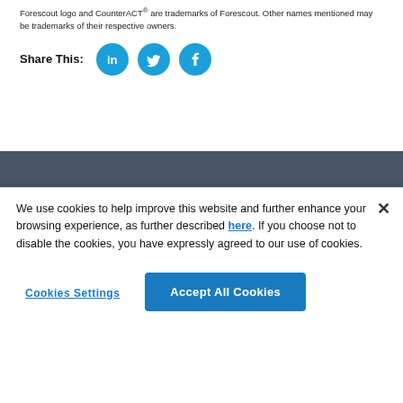Forescout logo and CounterACT® are trademarks of Forescout. Other names mentioned may be trademarks of their respective owners.
Share This:
[Figure (logo): Forescout logo in white on dark blue-grey footer band, with chevron bracket symbol]
PRIVACY FORESCOUT   TERMS OF USE   LEGAL
We use cookies to help improve this website and further enhance your browsing experience, as further described here. If you choose not to disable the cookies, you have expressly agreed to our use of cookies.
Cookies Settings
Accept All Cookies